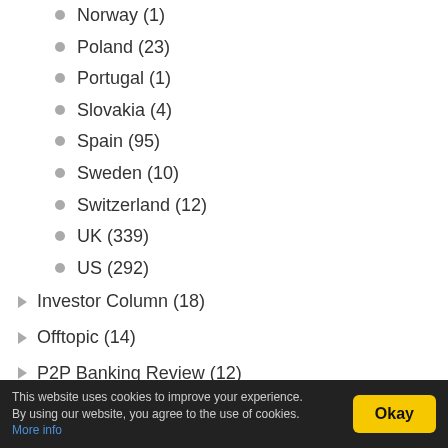Norway (1)
Poland (23)
Portugal (1)
Slovakia (4)
Spain (95)
Sweden (10)
Switzerland (12)
UK (339)
US (292)
Investor Column (18)
Offtopic (14)
P2P Banking Review (12)
Process (89)
Defaults, bad debt, debt sale (26)
This website uses cookies to improve your experience. By using our website, you agree to the use of cookies. More info